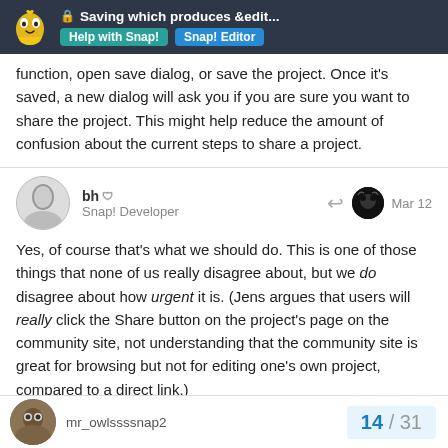Saving which produces &edit...
function, open save dialog, or save the project. Once it's saved, a new dialog will ask you if you are sure you want to share the project. This might help reduce the amount of confusion about the current steps to share a project.
bh
Snap! Developer
Mar 12
Yes, of course that's what we should do. This is one of those things that none of us really disagree about, but we do disagree about how urgent it is. (Jens argues that users will really click the Share button on the project's page on the community site, not understanding that the community site is great for browsing but not for editing one's own project, compared to a direct link.)

Maybe this thread will help actually get it to happen.
mr_owlssssnap2
14 / 31